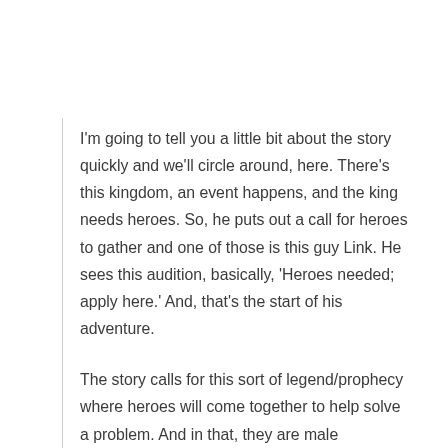I'm going to tell you a little bit about the story quickly and we'll circle around, here. There's this kingdom, an event happens, and the king needs heroes. So, he puts out a call for heroes to gather and one of those is this guy Link. He sees this audition, basically, 'Heroes needed; apply here.' And, that's the start of his adventure.
The story calls for this sort of legend/prophecy where heroes will come together to help solve a problem. And in that, they are male characters. So,